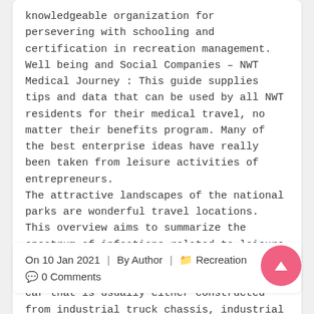knowledgeable organization for persevering with schooling and certification in recreation management.
Well being and Social Companies – NWT Medical Journey : This guide supplies tips and data that can be used by all NWT residents for their medical travel, no matter their benefits program. Many of the best enterprise ideas have really been taken from leisure activities of entrepreneurs.
The attractive landscapes of the national parks are wonderful travel locations. This overview aims to summarize the spectrum of infections related to leisure freshwater actions and worldwide travel. Class A Motorhome is a form of recreation car that is usually either constructed from industrial truck chassis, industrial bus chassis, or a motorcar chassis specially designed for the mentioned goal…. Read More
On 10 Jan 2021 | By Author | Recreation | 0 Comments